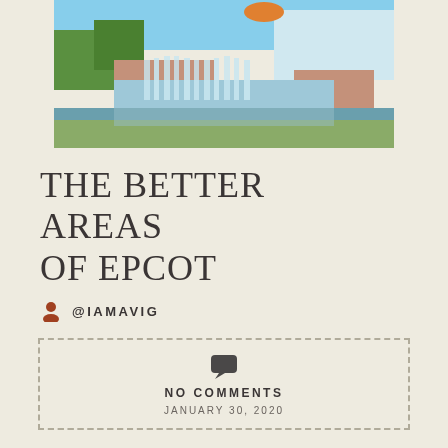[Figure (photo): Outdoor fountain/waterfall feature at EPCOT theme park, with water cascading into a reflecting pool, surrounded by landscaping and colorful structure in background]
THE BETTER AREAS OF EPCOT
@IAMAVIG
NO COMMENTS
JANUARY 30, 2020